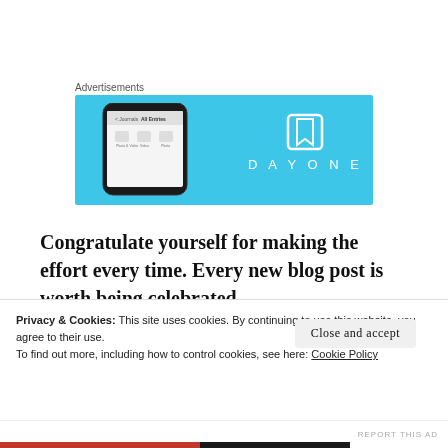Advertisements
[Figure (screenshot): DayOne app advertisement banner with light blue background showing a smartphone screenshot of the app interface on the left and the DayOne logo (bookmark icon + DAYONE text) on the right]
Congratulate yourself for making the effort every time. Every new blog post is worth being celebrated.
Take your effort... (partially visible)
Privacy & Cookies: This site uses cookies. By continuing to use this website, you agree to their use.
To find out more, including how to control cookies, see here: Cookie Policy
Close and accept